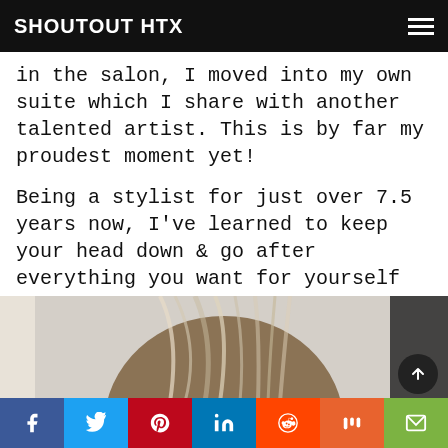SHOUTOUT HTX
in the salon, I moved into my own suite which I share with another talented artist. This is by far my proudest moment yet!
Being a stylist for just over 7.5 years now, I've learned to keep your head down & go after everything you want for yourself in this industry. You are an artist, express your creativity baby.
[Figure (photo): Back view of a person with highlighted brown/blonde hair in a bob cut, photographed from behind in a salon setting]
Social share bar: Facebook, Twitter, Pinterest, LinkedIn, Reddit, Mix, Email